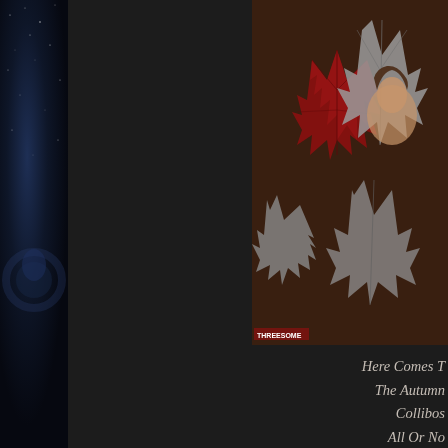[Figure (photo): Album cover art showing autumn leaves (red, silver/grey maple leaves) with a figure, on a dark background. Small text at bottom left reads 'THREESOME'.]
Here Comes T
The Autumn
Collibos
All Or No
Red Ball
Lazy Sun
Call It Someth
I Can't Ma
Afterglow (Of Y
Sha La La L
The Unive
Rollin' Over
If I Were A Carp
Every Little Bit H
My Mi